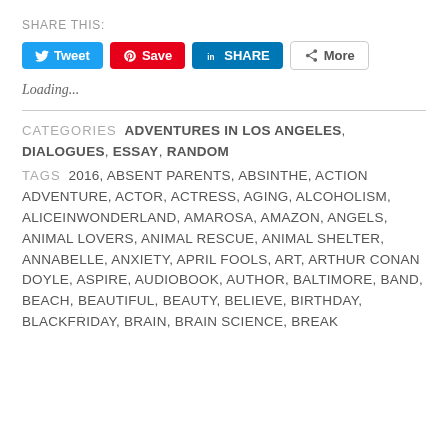SHARE THIS:
[Figure (screenshot): Social sharing buttons: Tweet (Twitter, blue), Save (Pinterest, red), SHARE (LinkedIn, blue), More (outlined)]
Loading...
CATEGORIES  ADVENTURES IN LOS ANGELES, DIALOGUES, ESSAY, RANDOM
TAGS  2016, ABSENT PARENTS, ABSINTHE, ACTION ADVENTURE, ACTOR, ACTRESS, AGING, ALCOHOLISM, ALICEINWONDERLAND, AMAROSA, AMAZON, ANGELS, ANIMAL LOVERS, ANIMAL RESCUE, ANIMAL SHELTER, ANNABELLE, ANXIETY, APRIL FOOLS, ART, ARTHUR CONAN DOYLE, ASPIRE, AUDIOBOOK, AUTHOR, BALTIMORE, BAND, BEACH, BEAUTIFUL, BEAUTY, BELIEVE, BIRTHDAY, BLACKFRIDAY, BRAIN, BRAIN SCIENCE, BREAK